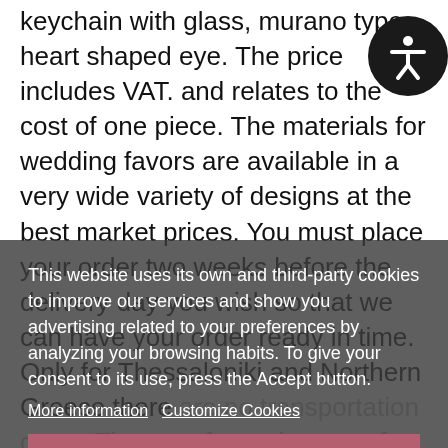keychain with glass, murano type, heart shaped eye. The price includes VAT. and relates to the cost of one piece. The materials for wedding favors are available in a very wide variety of designs at the best market prices. You must place your order two weeks before the delivery day you wish so that we can have your order ready in time. Only for Thessaloniki and Northern Greece there are no transportation costs. The transfer to the rest of Greece and the islands costs 7 € in Cyprus and abroad the cost is calculated depending on the order. If you want a sample contact button can send it to you by cash on delivery. For your best service, we will contact you before the
This website uses its own and third-party cookies to improve our services and show you advertising related to your preferences by analyzing your browsing habits. To give your consent to its use, press the Accept button.
More information   Customize Cookies
REJECT ALL
I ACCEPT